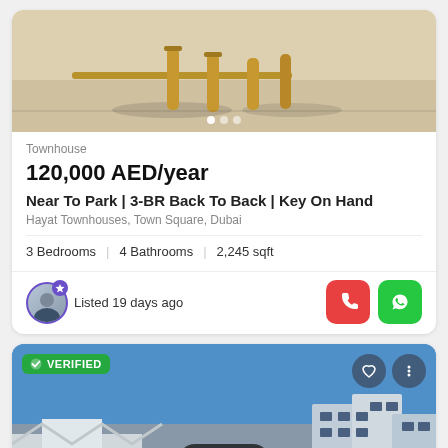[Figure (photo): Photo of cricket stumps in sand, outdoor play area]
Townhouse
120,000 AED/year
Near To Park | 3-BR Back To Back | Key On Hand
Hayat Townhouses, Town Square, Dubai
3 Bedrooms  |  4 Bathrooms  |  2,245 sqft
Listed 19 days ago
[Figure (photo): Photo of modern townhouse building with blue sky, VERIFIED badge, Map button overlay]